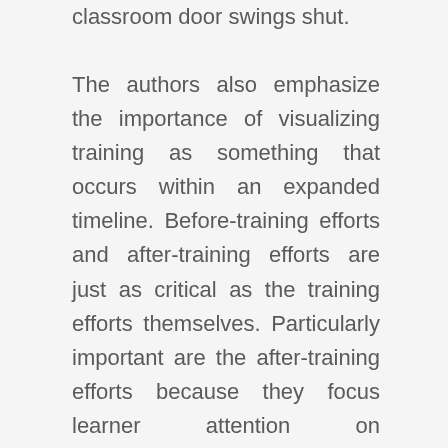classroom door swings shut.
The authors also emphasize the importance of visualizing training as something that occurs within an expanded timeline. Before-training efforts and after-training efforts are just as critical as the training efforts themselves. Particularly important are the after-training efforts because they focus learner attention on implementing the learning, reinforce fading memories, and transform the process of learning from an individual pursuit to an organizational responsibility. Learning changes from a love-it-and-leave-it experience to a system of reciprocal reinforcement where